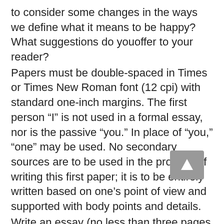to consider some changes in the ways we define what it means to be happy? What suggestions do youoffer to your reader?
Papers must be double-spaced in Times or Times New Roman font (12 cpi) with standard one-inch margins. The first person “I” is not used in a formal essay, nor is the passive “you.” In place of “you,” “one” may be used. No secondary sources are to be used in the process of writing this first paper; it is to be entirely written based on one’s point of view and supported with body points and details.
Write an essay (no less than three pages in length) that defines happiness.
Include an introductory paragraph with thesis statement.
Include body paragraphs (each with a topic sentence that states the point of the paragraph) that support the thesis statement and main argument.